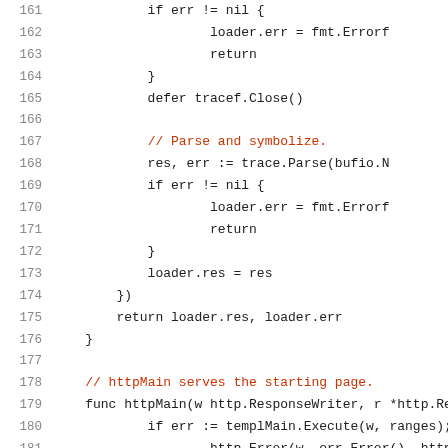161    if err != nil {
162        loader.err = fmt.Errorf
163        return
164    }
165    defer tracef.Close()
166
167    // Parse and symbolize.
168    res, err := trace.Parse(bufio.N
169    if err != nil {
170        loader.err = fmt.Errorf
171        return
172    }
173    loader.res = res
174    })
175    return loader.res, loader.err
176 }
177
178 // httpMain serves the starting page.
179 func httpMain(w http.ResponseWriter, r *http.Re
180    if err := templMain.Execute(w, ranges);
181        http.Error(w, err.Error(), http